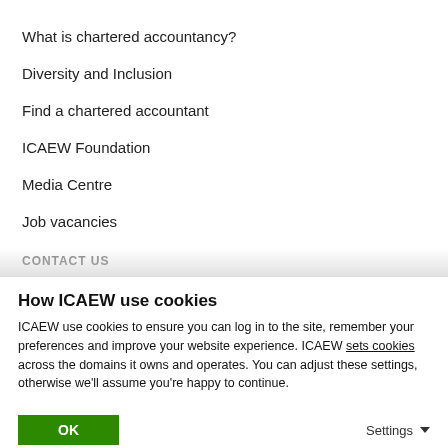What is chartered accountancy?
Diversity and Inclusion
Find a chartered accountant
ICAEW Foundation
Media Centre
Job vacancies
CONTACT US
Contact us
How to make a complaint
UK offices
How ICAEW use cookies
ICAEW use cookies to ensure you can log in to the site, remember your preferences and improve your website experience. ICAEW sets cookies across the domains it owns and operates. You can adjust these settings, otherwise we'll assume you're happy to continue.
OK
Settings